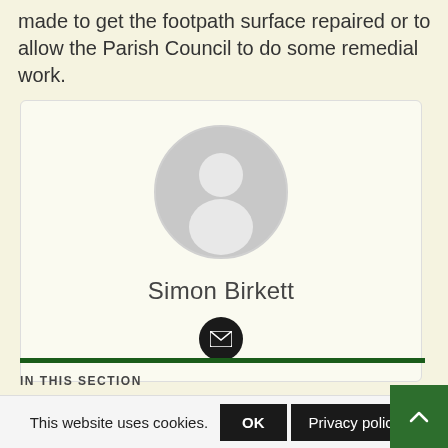made to get the footpath surface repaired or to allow the Parish Council to do some remedial work.
[Figure (illustration): Profile card with a generic grey silhouette avatar in a circle, name 'Simon Birkett', and an email icon button below]
IN THIS SECTION
This website uses cookies.
OK
Privacy policy